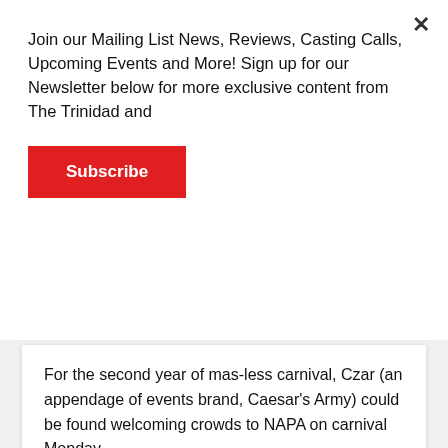Join our Mailing List News, Reviews, Casting Calls, Upcoming Events and More! Sign up for our Newsletter below for more exclusive content from The Trinidad and
Subscribe
For the second year of mas-less carnival, Czar (an appendage of events brand, Caesar’s Army) could be found welcoming crowds to NAPA on carnival Monday
Continue reading »
[Figure (photo): Portrait of a bald man, partially visible, with decorative iron gate/railing in background with green foliage]